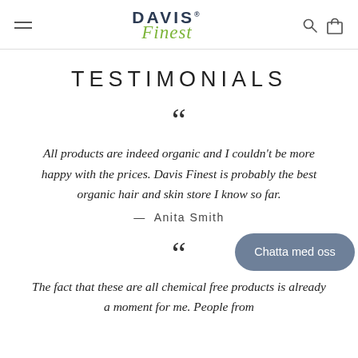Davis Finest — navigation header with logo, hamburger menu, search and cart icons
TESTIMONIALS
All products are indeed organic and I couldn't be more happy with the prices. Davis Finest is probably the best organic hair and skin store I know so far.
— Anita Smith
The fact that these are all chemical free products is already a moment for me. People from